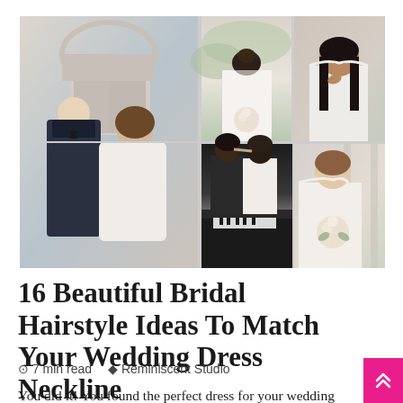[Figure (photo): Collage of 6 wedding photos showing brides and grooms in various bridal hairstyles and wedding dresses. Large left photo shows couple (man in tuxedo, woman in strapless white dress). Top middle shows bride from behind in lace gown with updo. Top right shows bride in off-shoulder white dress with dark hair down. Far right shows bride in one-shoulder gown holding bouquet. Bottom middle shows two brides kissing near a piano. Bottom right shows bride in flowy dress seated on rocks by water.]
16 Beautiful Bridal Hairstyle Ideas To Match Your Wedding Dress Neckline
⊙ 7 min read   ♦ Reminiscent Studio
You did it! You found the perfect dress for your wedding